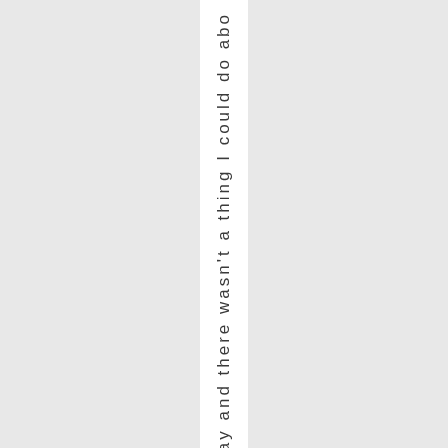day and there wasn't a thing I could do abo